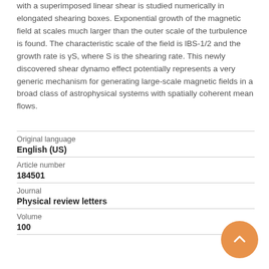with a superimposed linear shear is studied numerically in elongated shearing boxes. Exponential growth of the magnetic field at scales much larger than the outer scale of the turbulence is found. The characteristic scale of the field is lBS-1/2 and the growth rate is γS, where S is the shearing rate. This newly discovered shear dynamo effect potentially represents a very generic mechanism for generating large-scale magnetic fields in a broad class of astrophysical systems with spatially coherent mean flows.
| Field | Value |
| --- | --- |
| Original language | English (US) |
| Article number | 184501 |
| Journal | Physical review letters |
| Volume | 100 |